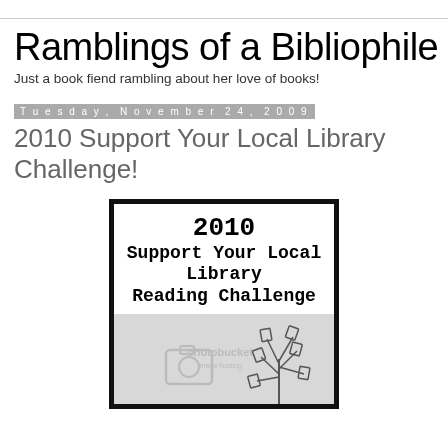Ramblings of a Bibliophile
Just a book fiend rambling about her love of books!
Tuesday, November 24, 2009
2010 Support Your Local Library Challenge!
[Figure (illustration): 2010 Support Your Local Library Reading Challenge badge with a tree made of books illustration and photobucket watermark]